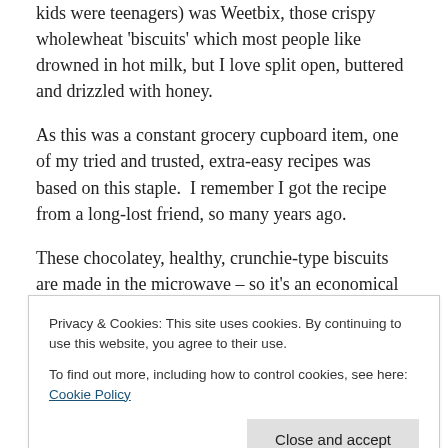kids were teenagers) was Weetbix, those crispy wholewheat 'biscuits' which most people like drowned in hot milk, but I love split open, buttered and drizzled with honey.
As this was a constant grocery cupboard item, one of my tried and trusted, extra-easy recipes was based on this staple.  I remember I got the recipe from a long-lost friend, so many years ago.
These chocolatey, healthy, crunchie-type biscuits are made in the microwave – so it's an economical and quick
Privacy & Cookies: This site uses cookies. By continuing to use this website, you agree to their use.
To find out more, including how to control cookies, see here: Cookie Policy
Close and accept
Chocolate Weetbix Squares